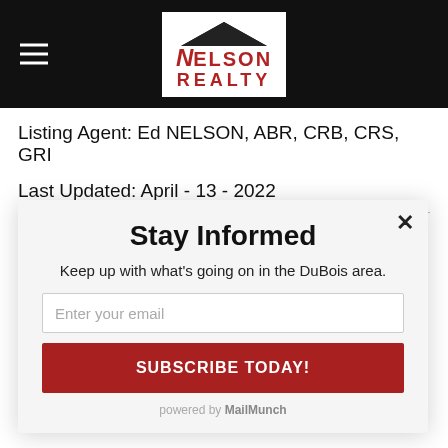Nelson Realty - header logo and navigation
Listing Agent: Ed NELSON, ABR, CRB, CRS, GRI
Last Updated: April - 13 - 2022
The listing broker's offer of compensation is made
[Figure (screenshot): Modal popup with title 'Stay Informed', subtitle 'Keep up with what's going on in the DuBois area.', email input field, 'SUBSCRIBE TODAY!' button, and 'powered by MailMunch' footer]
Stay Informed
Keep up with what's going on in the DuBois area.
Enter your email
SUBSCRIBE TODAY!
powered by MailMunch